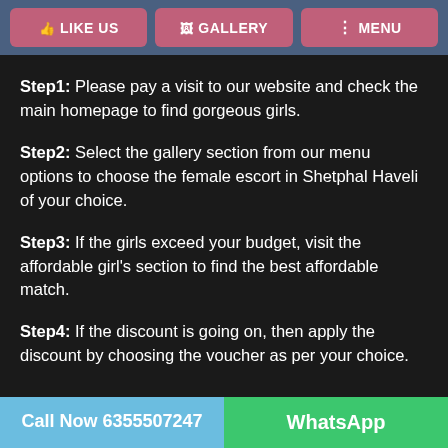LIKE US  GALLERY  MENU
Step1: Please pay a visit to our website and check the main homepage to find gorgeous girls.
Step2: Select the gallery section from our menu options to choose the female escort in Shetphal Haveli of your choice.
Step3: If the girls exceed your budget, visit the affordable girl's section to find the best affordable match.
Step4: If the discount is going on, then apply the discount by choosing the voucher as per your choice.
Call Now 6355507247   WhatsApp